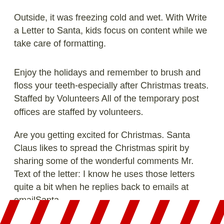Outside, it was freezing cold and wet. With Write a Letter to Santa, kids focus on content while we take care of formatting.
Enjoy the holidays and remember to brush and floss your teeth-especially after Christmas treats. Staffed by Volunteers All of the temporary post offices are staffed by volunteers.
Are you getting excited for Christmas. Santa Claus likes to spread the Christmas spirit by sharing some of the wonderful comments Mr. Text of the letter: I know he uses those letters quite a bit when he replies back to emails at emailSanta.
[Figure (illustration): Red and white diagonal candy cane stripe pattern border at the bottom of the page]